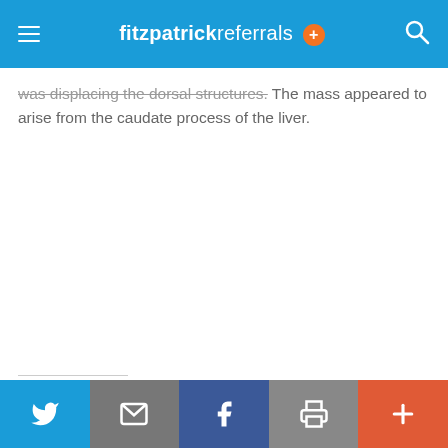fitzpatrick referrals +
was displacing the dorsal structures. The mass appeared to arise from the caudate process of the liver.
Twitter | Email | Facebook | Print | More